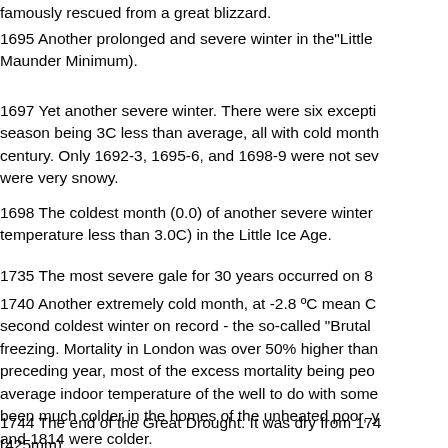famously rescued from a great blizzard.
1695 Another prolonged and severe winter in the"Little Maunder Minimum).
1697 Yet another severe winter. There were six excepti season being 3C less than average, all with cold month century. Only 1692-3, 1695-6, and 1698-9 were not sev were very snowy.
1698 The coldest month (0.0) of another severe winter temperature less than 3.0C) in the Little Ice Age.
1735 The most severe gale for 30 years occurred on 8
1740 Another extremely cold month, at -2.8 ºC mean C second coldest winter on record - the so-called "Brutal freezing. Mortality in London was over 50% higher than preceding year, most of the excess mortality being peo average indoor temperature of the well to do with some been much colder in the homes of the unheated poor, y and 1814 were colder.
1744 The end of the Great Drought. It was dry from 174 (425mm).